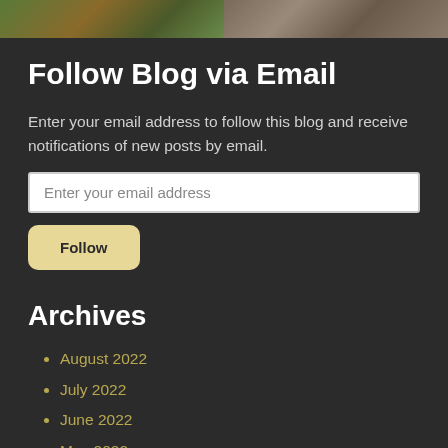[Figure (photo): Two nature/wildlife photos side by side at the top of the page, partially cropped]
Follow Blog via Email
Enter your email address to follow this blog and receive notifications of new posts by email.
Archives
August 2022
July 2022
June 2022
May 2022
April 2022
March 2022